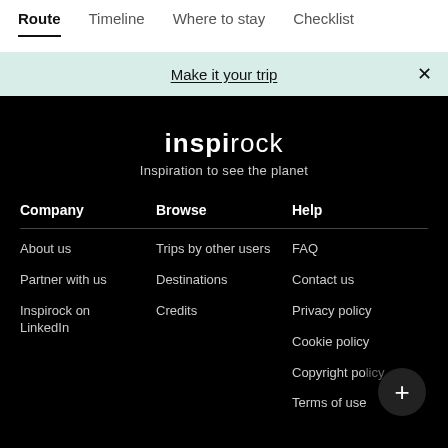Route  Timeline  Where to stay  Checklist
Make it your trip
inspirock
Inspiration to see the planet
Company
Browse
Help
About us
Trips by other users
FAQ
Partner with us
Destinations
Contact us
Inspirock on LinkedIn
Credits
Privacy policy
Cookie policy
Copyright policy
Terms of use